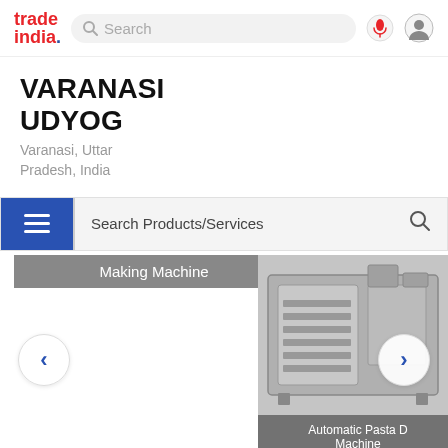[Figure (screenshot): TradeIndia website header with logo, search bar, microphone icon, and profile icon]
VARANASI UDYOG
Varanasi, Uttar Pradesh, India
[Figure (screenshot): Search Products/Services bar with blue hamburger menu button and search icon]
Making Machine
[Figure (photo): Automatic Pasta Drying Machine industrial equipment photo]
Automatic Pasta D Machine